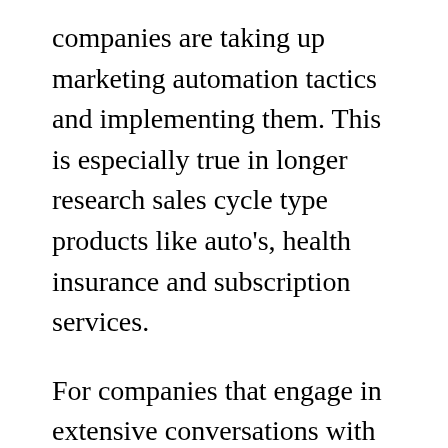companies are taking up marketing automation tactics and implementing them. This is especially true in longer research sales cycle type products like auto's, health insurance and subscription services.

For companies that engage in extensive conversations with customers either before a sale or need to keep a conversation going to keep the subscription dollars coming in, look hard at the marketing automation technologies that are out there such as Marketo, Pardot and Act-On. They may give you inspiration to improve your communications and sales efficiencies. This tactic is less effective for pure e-commerce or